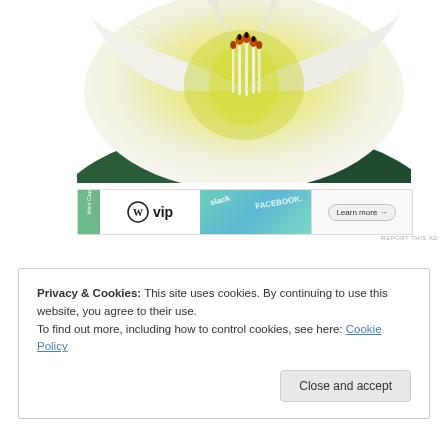[Figure (photo): Close-up macro photograph of a white lily flower with yellow-green center and orange-tipped stamens]
[Figure (screenshot): Advertisement banner: WordPress VIP logo on left, colorful middle section with text (slack, FACEBOOK), and 'Learn more' button with arrow on right]
REPORT THIS AD
Privacy & Cookies: This site uses cookies. By continuing to use this website, you agree to their use.
To find out more, including how to control cookies, see here: Cookie Policy
Close and accept